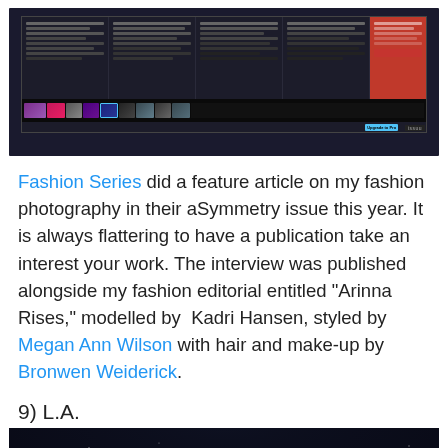[Figure (screenshot): Screenshot of an Issuu digital magazine reader showing a fashion/photography article with thumbnail strip at bottom and a red panel on the right side]
Fashion Series did a feature article on my fashion photography in their aSymmetry issue this year. It is always flattering to have a publication take an interest your work. The interview was published alongside my fashion editorial entitled “Arinna Rises,” modelled by  Kadri Hansen, styled by Megan Ann Wilson with hair and make-up by Bronwen Weiderick.
9) L.A.
[Figure (photo): Dark night sky photo with a bright starburst light source near the bottom center and palm tree silhouettes visible against the dark sky]